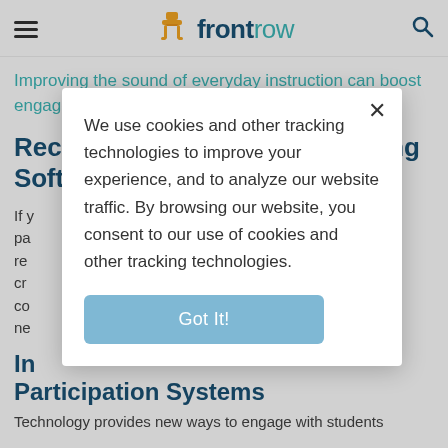frontrow
Improving the sound of everyday instruction can boost engagement and increase test scores.
Recording and Screen Capturing Software
If y... pa... re... cr... co... ne...
In... Participation Systems
Technology provides new ways to engage with students
We use cookies and other tracking technologies to improve your experience, and to analyze our website traffic. By browsing our website, you consent to our use of cookies and other tracking technologies.